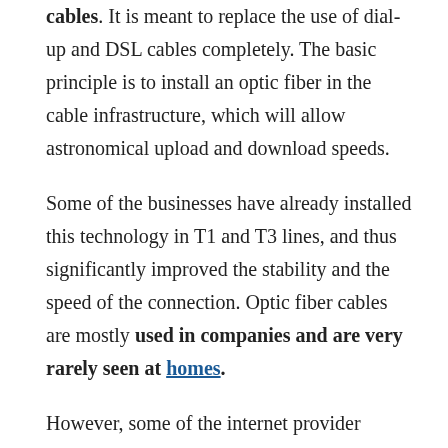cables. It is meant to replace the use of dial-up and DSL cables completely. The basic principle is to install an optic fiber in the cable infrastructure, which will allow astronomical upload and download speeds.
Some of the businesses have already installed this technology in T1 and T3 lines, and thus significantly improved the stability and the speed of the connection. Optic fiber cables are mostly used in companies and are very rarely seen at homes.
However, some of the internet provider companies have recognized the potential and started offering the optic fiber connection to certain areas where